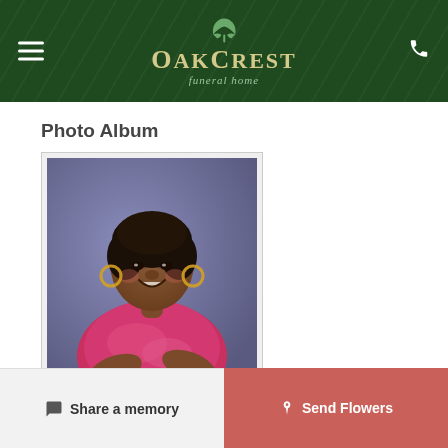OakCrest Funeral Home
Photo Album
[Figure (photo): Portrait photograph of a woman smiling, wearing a pink/red sequined top, with hoop earrings, against a blue-purple studio background.]
Add Photos
Share a memory
Send Flowers